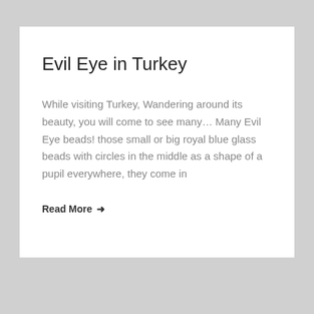Evil Eye in Turkey
While visiting Turkey, Wandering around its beauty, you will come to see many… Many Evil Eye beads! those small or big royal blue glass beads with circles in the middle as a shape of a pupil everywhere, they come in
Read More →